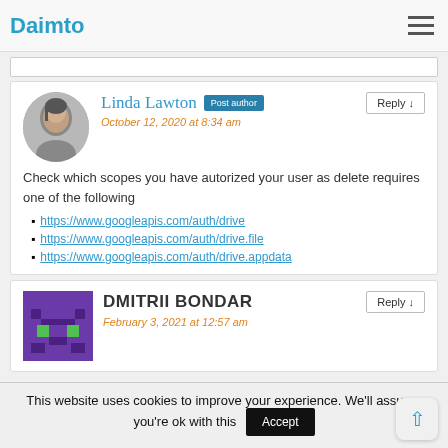Daimto
Linda Lawton  Post author
October 12, 2020 at 8:34 am
Check which scopes you have autorized your user as delete requires one of the following
https://www.googleapis.com/auth/drive
https://www.googleapis.com/auth/drive.file
https://www.googleapis.com/auth/drive.appdata
DMITRII BONDAR
February 3, 2021 at 12:57 am
This website uses cookies to improve your experience. We'll assume you're ok with this  Accept